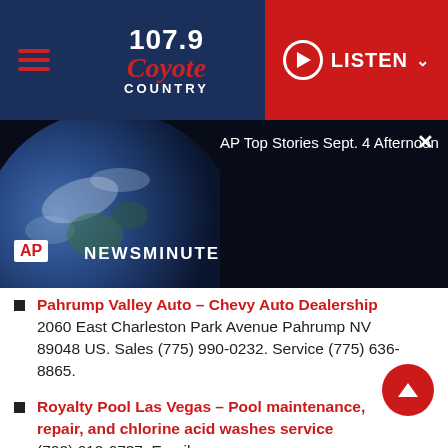107.9 Coyote Country — LISTEN
[Figure (screenshot): AP Newsminute video player panel showing AP Top Stories Sept. 4 Afternoon with earth globe background, AP badge and NEWSMINUTE text]
Pahrump Valley Auto – Chevy Auto Dealership
2060 East Charleston Park Avenue Pahrump NV 89048 US. Sales (775) 990-0232. Service (775) 636-8865.
Royalty Pool Las Vegas – Pool maintenance, repair, and chlorine acid washes service
(702) 612-6737. Email: danny@royaltypoolslasvegas.co